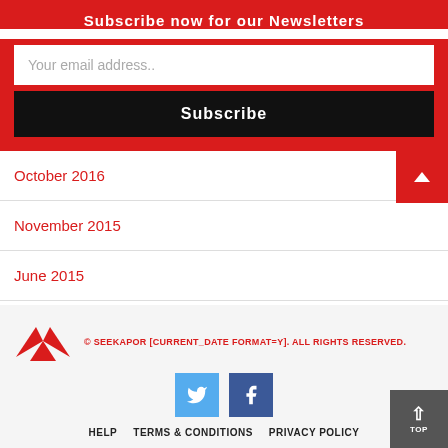Subscribe now for our Newsletters
Your email address..
Subscribe
October 2016
November 2015
June 2015
© SEEKAPOR [CURRENT_DATE FORMAT=Y]. ALL RIGHTS RESERVED.
HELP   TERMS & CONDITIONS   PRIVACY POLICY